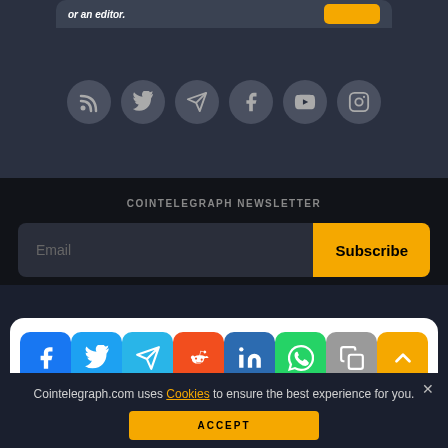[Figure (screenshot): Partial top bar with italic text 'or an editor.' and a yellow button, on dark rounded card]
[Figure (infographic): Row of six circular social media icons: RSS, Twitter, Telegram, Facebook, YouTube, Instagram on dark background]
COINTELEGRAPH NEWSLETTER
[Figure (screenshot): Email input field with placeholder 'Email' and yellow Subscribe button]
[Figure (infographic): Share bar with 8 colored rounded-square buttons: Facebook, Twitter, Telegram, Reddit, LinkedIn, WhatsApp, Copy, Scroll-up]
© Cointelegraph 2013 - 2022
Cointelegraph.com uses Cookies to ensure the best experience for you.
ACCEPT